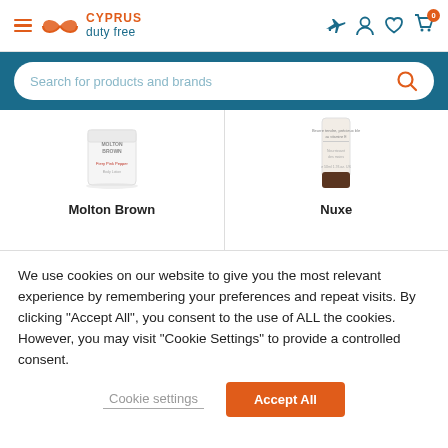[Figure (screenshot): Cyprus Duty Free website header with hamburger menu, logo (infinity symbol with CYPRUS duty free text), and navigation icons (flight, person, heart, cart with 0 badge)]
[Figure (screenshot): Search bar with placeholder text 'Search for products and brands' and orange search icon on teal background]
[Figure (screenshot): Two product cards side by side: Molton Brown (white candle/jar product) and Nuxe (cream tube product)]
Molton Brown
Nuxe
We use cookies on our website to give you the most relevant experience by remembering your preferences and repeat visits. By clicking “Accept All”, you consent to the use of ALL the cookies. However, you may visit "Cookie Settings" to provide a controlled consent.
Cookie settings
Accept All